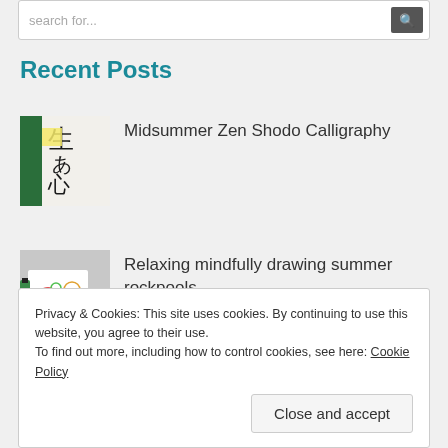search for...
Recent Posts
[Figure (photo): Thumbnail image of Japanese calligraphy brushwork on paper with green background]
Midsummer Zen Shodo Calligraphy
[Figure (photo): Thumbnail image of colorful mindful drawing of summer rockpools with art supplies]
Relaxing mindfully drawing summer rockpools
Privacy & Cookies: This site uses cookies. By continuing to use this website, you agree to their use.
To find out more, including how to control cookies, see here: Cookie Policy
Close and accept